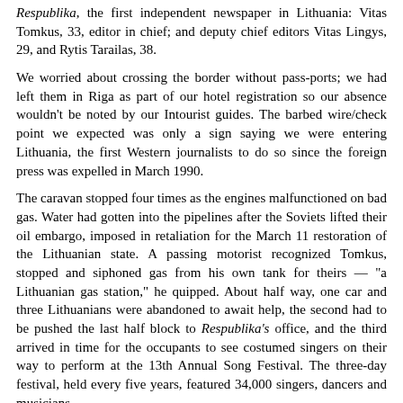Respublika, the first independent newspaper in Lithuania: Vitas Tomkus, 33, editor in chief; and deputy chief editors Vitas Lingys, 29, and Rytis Tarailas, 38.
We worried about crossing the border without pass-ports; we had left them in Riga as part of our hotel registration so our absence wouldn't be noted by our Intourist guides. The barbed wire/check point we expected was only a sign saying we were entering Lithuania, the first Western journalists to do so since the foreign press was expelled in March 1990.
The caravan stopped four times as the engines malfunctioned on bad gas. Water had gotten into the pipelines after the Soviets lifted their oil embargo, imposed in retaliation for the March 11 restoration of the Lithuanian state. A passing motorist recognized Tomkus, stopped and siphoned gas from his own tank for theirs — "a Lithuanian gas station," he quipped. About half way, one car and three Lithuanians were abandoned to await help, the second had to be pushed the last half block to Respublika's office, and the third arrived in time for the occupants to see costumed singers on their way to perform at the 13th Annual Song Festival. The three-day festival, held every five years, featured 34,000 singers, dancers and musicians.
Tomkus arranged a meeting with Prime Minister Kazimiera Prunskienė in her office, quite a feat considering that Respublika broke the story of her connection with the KGB. Though the nation was shocked, the KGB no longer had information with which to blackmail her. Prunskiene expressed disappointment that the United States hadn't helped during the blockade and was only interested in "larger scale problems than ours." She did appreciate, however, that President George Bush met with her as that was important in gaining access to other leaders. "The world